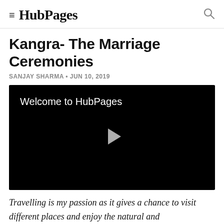HubPages
Kangra- The Marriage Ceremonies
SANJAY SHARMA • JUN 10, 2019
[Figure (screenshot): Video player with black background showing 'Welcome to HubPages' text and a play button in the center]
Travelling is my passion as it gives a chance to visit different places and enjoy the natural and